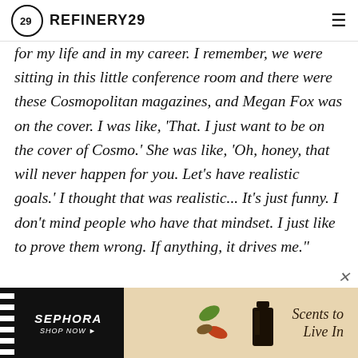REFINERY29
for my life and in my career. I remember, we were sitting in this little conference room and there were these Cosmopolitan magazines, and Megan Fox was on the cover. I was like, 'That. I just want to be on the cover of Cosmo.' She was like, 'Oh, honey, that will never happen for you. Let's have realistic goals.' I thought that was realistic... It's just funny. I don't mind people who have that mindset. I just like to prove them wrong. If anything, it drives me."
[Figure (screenshot): Sephora advertisement banner: black left panel with SEPHORA SHOP NOW text, beige right panel with perfume bottle, leaf decorations, and 'Scents to Live In' text]